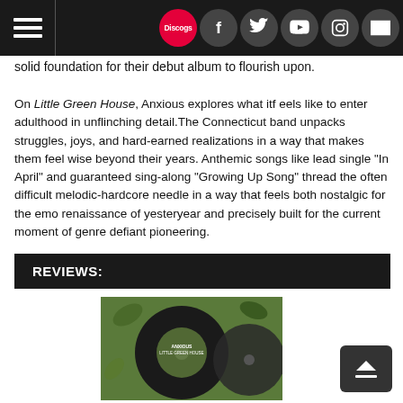Navigation bar with hamburger menu and social icons: Discogs, Facebook, Twitter, YouTube, Instagram, Email
solid foundation for their debut album to flourish upon.
On Little Green House, Anxious explores what itf eels like to enter adulthood in unflinching detail.The Connecticut band unpacks struggles, joys, and hard-earned realizations in a way that makes them feel wise beyond their years. Anthemic songs like lead single “In April” and guaranteed sing-along “Growing Up Song” thread the often difficult melodic-hardcore needle in a way that feels both nostalgic for the emo renaissance of yesteryear and precisely built for the current moment of genre defiant pioneering.
REVIEWS:
[Figure (photo): Album cover for Little Green House with vinyl record partially visible]